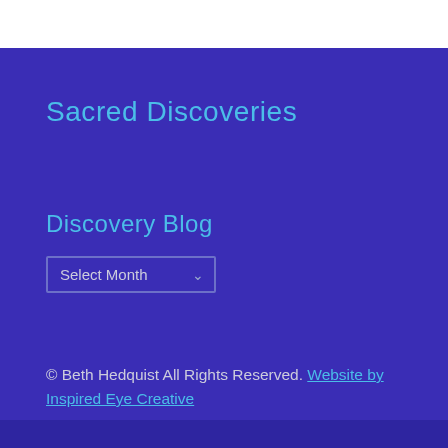Sacred Discoveries
Discovery Blog
© Beth Hedquist All Rights Reserved. Website by Inspired Eye Creative